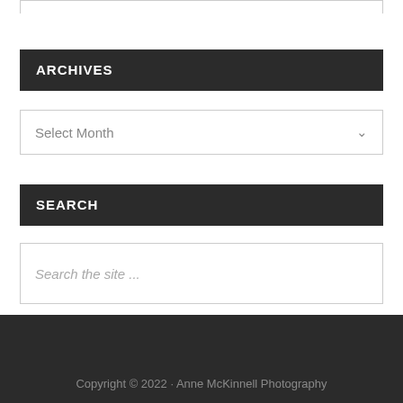ARCHIVES
Select Month
SEARCH
Search the site ...
Copyright © 2022 · Anne McKinnell Photography